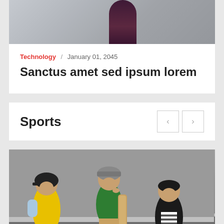[Figure (photo): Partial top image showing a blurred dark purple/maroon figure against a light gray background, cropped at the top of the page]
Technology / January 01, 2045
Sanctus amet sed ipsum lorem
Sports
[Figure (photo): Three children posing in front of a concrete wall. Left child wears a black helmet and colorful yellow jacket with red skirt. Middle child wears green jacket and sits holding a skateboard. Right child wears a striped shirt and black jacket.]